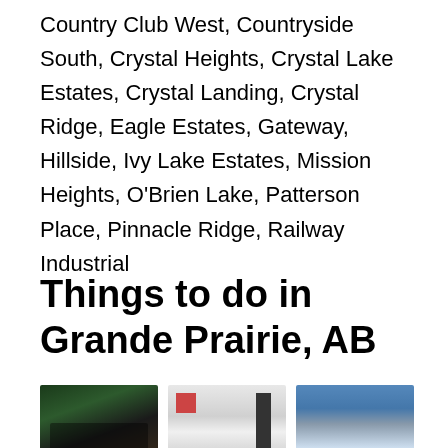Country Club West, Countryside South, Crystal Heights, Crystal Lake Estates, Crystal Landing, Crystal Ridge, Eagle Estates, Gateway, Hillside, Ivy Lake Estates, Mission Heights, O'Brien Lake, Patterson Place, Pinnacle Ridge, Railway Industrial
Things to do in Grande Prairie, AB
[Figure (photo): Group photo of people in a dark room with green and black signage]
Amazing Escape GP...
[Figure (photo): Two people silhouetted in an art gallery with artwork on white walls]
Art Gallery of Grande...
[Figure (photo): Indoor bowling alley lanes viewed from above]
Bowling Stones Ten...